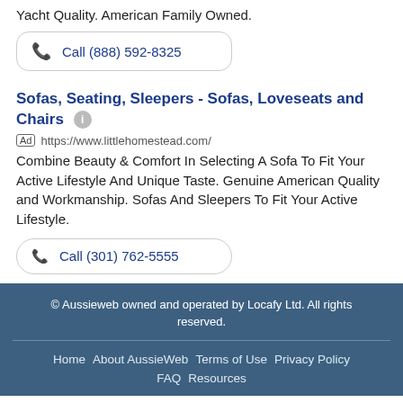Yacht Quality. American Family Owned.
Call (888) 592-8325
Sofas, Seating, Sleepers - Sofas, Loveseats and Chairs
Ad https://www.littlehomestead.com/
Combine Beauty & Comfort In Selecting A Sofa To Fit Your Active Lifestyle And Unique Taste. Genuine American Quality and Workmanship. Sofas And Sleepers To Fit Your Active Lifestyle.
Call (301) 762-5555
© Aussieweb owned and operated by Locafy Ltd. All rights reserved.
Home  About AussieWeb  Terms of Use  Privacy Policy  FAQ  Resources